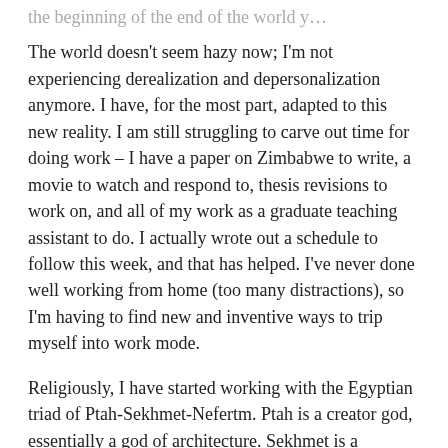the beginning of the end of the world y…
The world doesn't seem hazy now; I'm not experiencing derealization and depersonalization anymore. I have, for the most part, adapted to this new reality. I am still struggling to carve out time for doing work – I have a paper on Zimbabwe to write, a movie to watch and respond to, thesis revisions to work on, and all of my work as a graduate teaching assistant to do. I actually wrote out a schedule to follow this week, and that has helped. I've never done well working from home (too many distractions), so I'm having to find new and inventive ways to trip myself into work mode.
Religiously, I have started working with the Egyptian triad of Ptah-Sekhmet-Nefertm. Ptah is a creator god, essentially a god of architecture. Sekhmet is a goddess of war and disease, both the spreading and prevention of it. Nefertm is the god of beauty and perfume; some sources also suggest that he is a god of medicine. This triad of gods showed up for me almost